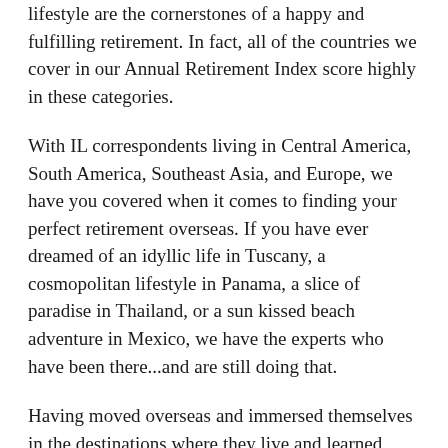lifestyle are the cornerstones of a happy and fulfilling retirement. In fact, all of the countries we cover in our Annual Retirement Index score highly in these categories.
With IL correspondents living in Central America, South America, Southeast Asia, and Europe, we have you covered when it comes to finding your perfect retirement overseas. If you have ever dreamed of an idyllic life in Tuscany, a cosmopolitan lifestyle in Panama, a slice of paradise in Thailand, or a sun kissed beach adventure in Mexico, we have the experts who have been there...and are still doing that.
Having moved overseas and immersed themselves in the destinations where they live and learned their lessons the hard way, our experts are ideally placed to compare, contrast, and bring nuanced insight to the most appealing